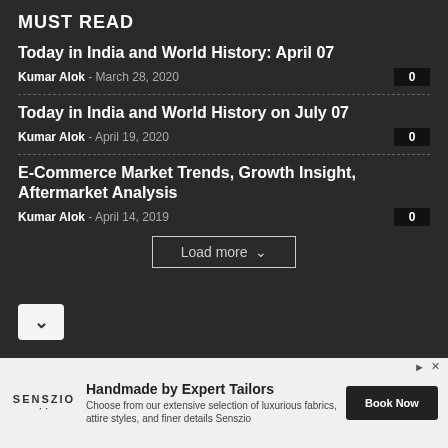MUST READ
Today in India and World History: April 07
Kumar Alok  -  March 28, 2020   0
Today in India and World History on July 07
Kumar Alok  -  April 19, 2020   0
E-Commerce Market Trends, Growth Insight, Aftermarket Analysis
Kumar Alok  -  April 14, 2019   0
Load more
[Figure (screenshot): Advertisement banner for Senszio: Handmade by Expert Tailors - Book Now]
Handmade by Expert Tailors. Choose from our extensive selection of luxurious fabrics, attire styles, and finer details Senszio. Book Now.